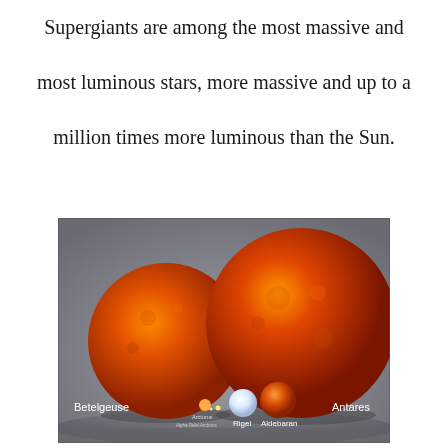Supergiants are among the most massive and most luminous stars, more massive and up to a million times more luminous than the Sun.
[Figure (illustration): Comparison of sizes of giant and supergiant stars: Betelgeuse (large orange sphere on left), Antares (largest orange sphere on right), with smaller stars Rigel (white), Aldebaran (orange), Arcturus, and Sun visible in the foreground at the bottom center.]